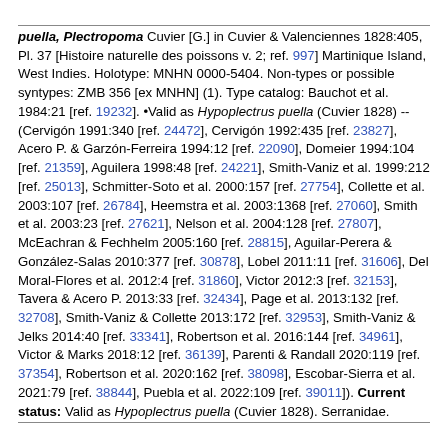puella, Plectropoma Cuvier [G.] in Cuvier & Valenciennes 1828:405, Pl. 37 [Histoire naturelle des poissons v. 2; ref. 997] Martinique Island, West Indies. Holotype: MNHN 0000-5404. Non-types or possible syntypes: ZMB 356 [ex MNHN] (1). Type catalog: Bauchot et al. 1984:21 [ref. 19232]. •Valid as Hypoplectrus puella (Cuvier 1828) -- (Cervigón 1991:340 [ref. 24472], Cervigón 1992:435 [ref. 23827], Acero P. & Garzón-Ferreira 1994:12 [ref. 22090], Domeier 1994:104 [ref. 21359], Aguilera 1998:48 [ref. 24221], Smith-Vaniz et al. 1999:212 [ref. 25013], Schmitter-Soto et al. 2000:157 [ref. 27754], Collette et al. 2003:107 [ref. 26784], Heemstra et al. 2003:1368 [ref. 27060], Smith et al. 2003:23 [ref. 27621], Nelson et al. 2004:128 [ref. 27807], McEachran & Fechhelm 2005:160 [ref. 28815], Aguilar-Perera & González-Salas 2010:377 [ref. 30878], Lobel 2011:11 [ref. 31606], Del Moral-Flores et al. 2012:4 [ref. 31860], Victor 2012:3 [ref. 32153], Tavera & Acero P. 2013:33 [ref. 32434], Page et al. 2013:132 [ref. 32708], Smith-Vaniz & Collette 2013:172 [ref. 32953], Smith-Vaniz & Jelks 2014:40 [ref. 33341], Robertson et al. 2016:144 [ref. 34961], Victor & Marks 2018:12 [ref. 36139], Parenti & Randall 2020:119 [ref. 37354], Robertson et al. 2020:162 [ref. 38098], Escobar-Sierra et al. 2021:79 [ref. 38844], Puebla et al. 2022:109 [ref. 39011]). Current status: Valid as Hypoplectrus puella (Cuvier 1828). Serranidae. Distribution: Western Atlantic: Florida (U.S.A.) south to West Indies, including northeastern Gulf of Mexico and Caribbean Sea, Habitat: marine.